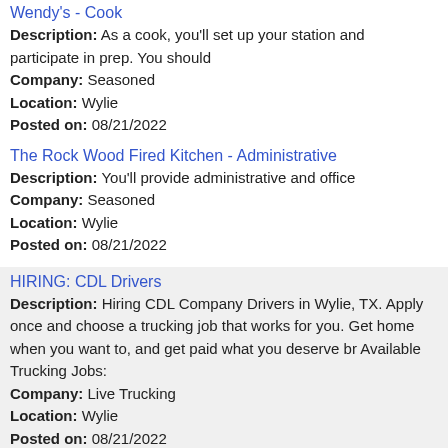Wendy's - Cook
Description: As a cook, you'll set up your station and participate in prep. You should
Company: Seasoned
Location: Wylie
Posted on: 08/21/2022
The Rock Wood Fired Kitchen - Administrative
Description: You'll provide administrative and office
Company: Seasoned
Location: Wylie
Posted on: 08/21/2022
HIRING: CDL Drivers
Description: Hiring CDL Company Drivers in Wylie, TX. Apply once and choose a trucking job that works for you. Get home when you want to, and get paid what you deserve br Available Trucking Jobs:
Company: Live Trucking
Location: Wylie
Posted on: 08/21/2022
Part Time Product Demonstrator in Kroger
Description: If you enjoy talking and engaging with people, our Part Time Product Demonstrator job may be the right fit for you -In this